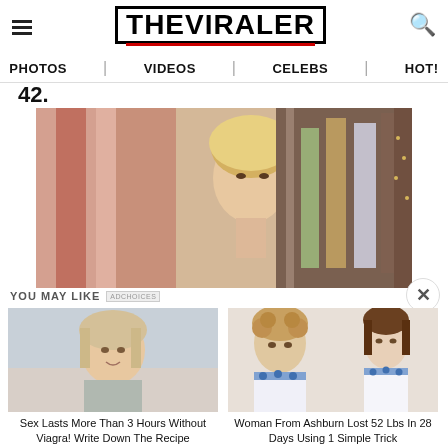THE VIRALER
PHOTOS | VIDEOS | CELEBS | HOT!
42.
[Figure (photo): Main image showing a woman with blonde hair peeking around a pink curtain, with colorful clothing items hanging in the background]
YOU MAY LIKE
[Figure (photo): Ad image: woman smiling with shoulder-length blonde hair]
Sex Lasts More Than 3 Hours Without Viagra! Write Down The Recipe
[Figure (photo): Ad image: two women wearing white and blue dresses - before and after weight loss]
Woman From Ashburn Lost 52 Lbs In 28 Days Using 1 Simple Trick